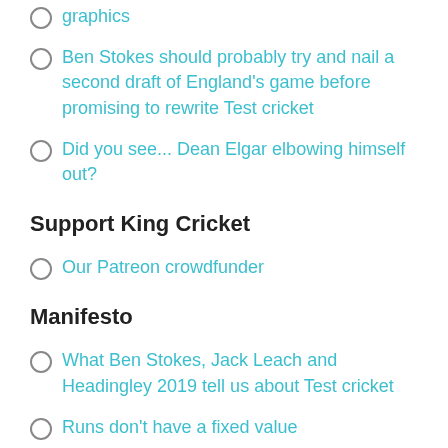graphics
Ben Stokes should probably try and nail a second draft of England's game before promising to rewrite Test cricket
Did you see... Dean Elgar elbowing himself out?
Support King Cricket
Our Patreon crowdfunder
Manifesto
What Ben Stokes, Jack Leach and Headingley 2019 tell us about Test cricket
Runs don't have a fixed value
Play fewer matches